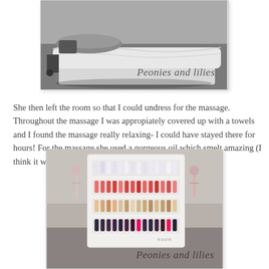[Figure (photo): Photo of a massage table covered with grey and white towels/linens in a spa/salon room. A cursive watermark reads 'Peonies and lilies' overlaid on the bottom-right of the image.]
She then left the room so that I could undress for the massage. Throughout the massage I was appropiately covered up with a towels and I found the massage really relaxing- I could have stayed there for hours! For the massage she used a gorgeous oil which smelt amazing (I think it was a blend of ylang ylang and lavander).
[Figure (photo): Photo of a nail polish display rack/stand holding rows of nail polish bottles in various colors (pinks, reds, nudes, dark shades) at a nail salon. A cursive watermark reads 'Peonies and lilies' at the bottom of the image.]